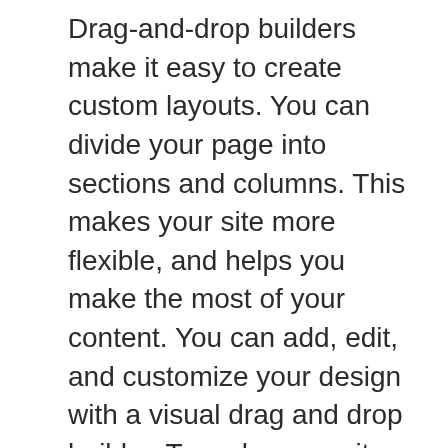Drag-and-drop builders make it easy to create custom layouts. You can divide your page into sections and columns. This makes your site more flexible, and helps you make the most of your content. You can add, edit, and customize your design with a visual drag and drop builder. To make your site more flexible, you can also use drag-and-drop builders.
There are two versions of the plugin: the premium and free. They have different features. The premium version allows for multiple column layouts and allows for the addition of modules to each column. Each column can contain a variety of different modules. You can edit your code at any level with the free version. However, you will need